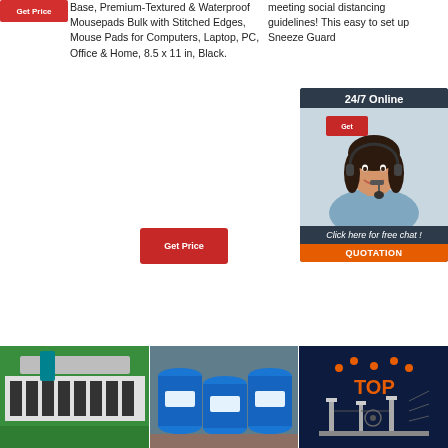[Figure (other): Red Get Price button at top left]
Base, Premium-Textured & Waterproof Mousepads Bulk with Stitched Edges, Mouse Pads for Computers, Laptop, PC, Office & Home, 8.5 x 11 in, Black.
meeting social distancing guidelines! This easy to set up Sneeze Guard
[Figure (other): 24/7 Online chat widget with woman wearing headset, Click here for free chat!, QUOTATION button]
[Figure (other): Red Get Price button]
[Figure (photo): Manufacturing facility showing mousepad production on green surface]
[Figure (photo): Blue industrial barrels/drums on pallets]
[Figure (photo): Technical equipment schematic with TOP branding on dark blue background]